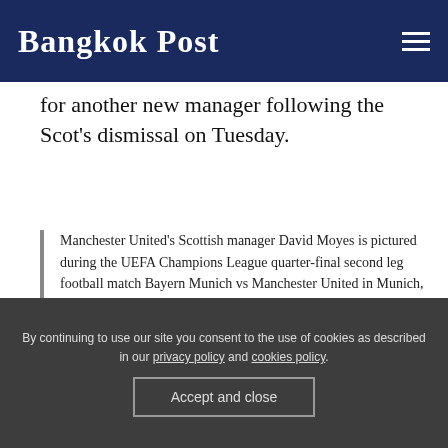Bangkok Post
for another new manager following the Scot's dismissal on Tuesday.
Manchester United's Scottish manager David Moyes is pictured during the UEFA Champions League quarter-final second leg football match Bayern Munich vs Manchester United in Munich, southern Germany, on April 9, 2014
While player-coach Ryan Giggs has been placed in